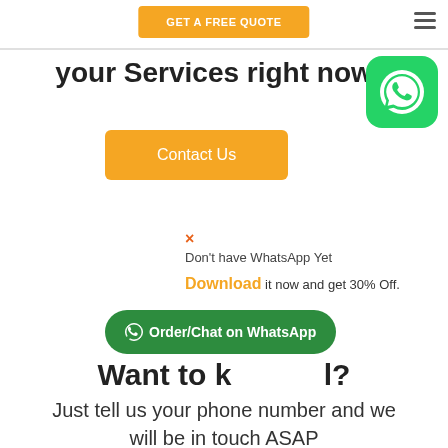[Figure (screenshot): Orange 'GET A FREE QUOTE' button in navigation bar]
your Services right now!
[Figure (logo): WhatsApp green rounded square logo icon]
Contact Us
× Don't have WhatsApp Yet
Download it now and get 30% Off.
⊙ Order/Chat on WhatsApp
Want to k l?
Just tell us your phone number and we will be in touch ASAP